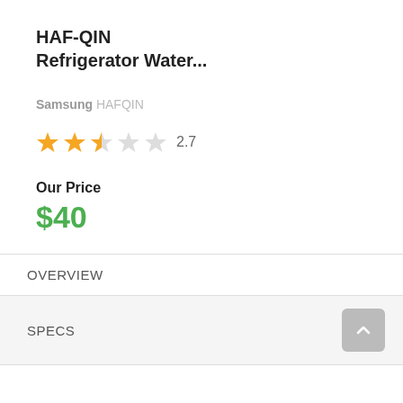HAF-QIN Refrigerator Water...
Samsung HAFQIN
[Figure (other): Star rating: 2.7 out of 5 stars (2 full stars, 1 half star, 2 empty stars) with numeric label 2.7]
Our Price
$40
See Details
OVERVIEW
SPECS